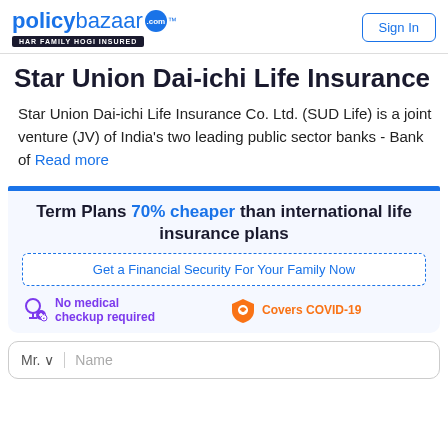[Figure (logo): Policybazaar logo with tagline HAR FAMILY HOGI INSURED]
Sign In
Star Union Dai-ichi Life Insurance
Star Union Dai-ichi Life Insurance Co. Ltd. (SUD Life) is a joint venture (JV) of India's two leading public sector banks - Bank of Read more
Term Plans 70% cheaper than international life insurance plans
Get a Financial Security For Your Family Now
No medical checkup required
Covers COVID-19
Mr. ... Name